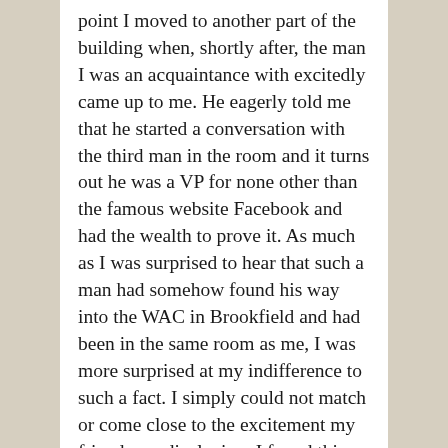point I moved to another part of the building when, shortly after, the man I was an acquaintance with excitedly came up to me. He eagerly told me that he started a conversation with the third man in the room and it turns out he was a VP for none other than the famous website Facebook and had the wealth to prove it. As much as I was surprised to hear that such a man had somehow found his way into the WAC in Brookfield and had been in the same room as me, I was more surprised at my indifference to such a fact. I simply could not match or come close to the excitement my friend was displaying. I found this quite strange. After all, this man was, according to my friend, worth many millions if not billions, how could I not be at least somewhat excited to think I was a mere feet away from him.